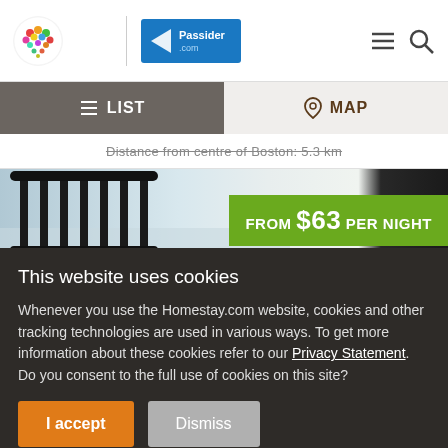[Figure (logo): Homestay.com colorful heart logo and Passider.com blue logo in header, with hamburger menu and search icons]
LIST | MAP navigation tabs
Distance from centre of Boston: 5.3 km
[Figure (photo): Hotel/homestay room photo showing iron bed headboard, white walls, and dark countertop]
FROM $63 PER NIGHT
This website uses cookies
Whenever you use the Homestay.com website, cookies and other tracking technologies are used in various ways. To get more information about these cookies refer to our Privacy Statement. Do you consent to the full use of cookies on this site?
I accept
Dismiss
You can change your settings at any time from Cookie Settings.